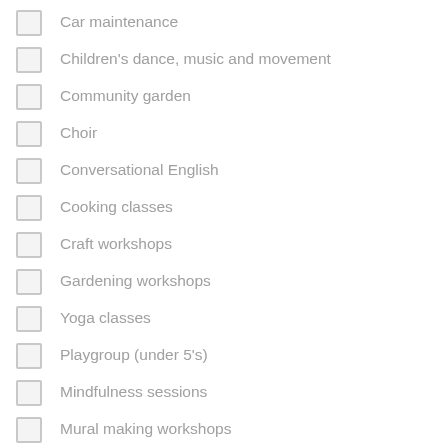Car maintenance
Children's dance, music and movement
Community garden
Choir
Conversational English
Cooking classes
Craft workshops
Gardening workshops
Yoga classes
Playgroup (under 5's)
Mindfulness sessions
Mural making workshops
Music for toddlers
Nutrition sessions